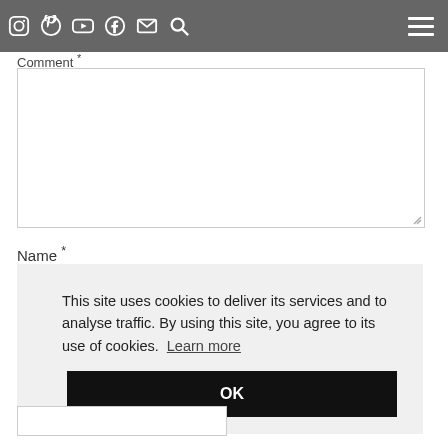Comment * [header bar with social icons: Instagram, Pinterest, YouTube, Facebook, Email, Search, and hamburger menu]
Comment *
[Figure (screenshot): Empty comment textarea with resize handle in bottom-right corner]
Name *
This site uses cookies to deliver its services and to analyse traffic. By using this site, you agree to its use of cookies. Learn more
OK